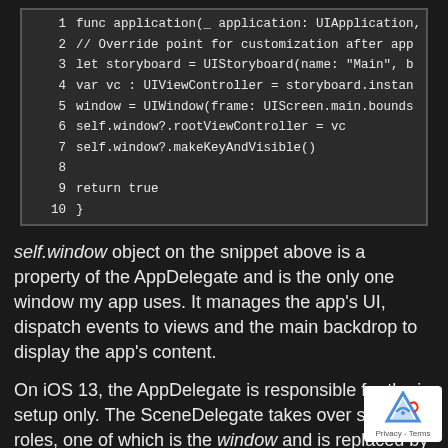[Figure (screenshot): Code snippet showing Swift application delegate function with lines 1-10, dark background code editor style]
self.window object on the snippet above is a property of the AppDelegate and is the only one window my app uses. It manages the app's UI, dispatch events to views and the main backdrop to display the app's content.
On iOS 13, the AppDelegate is responsible for the initial setup only. The SceneDelegate takes over some of roles, one of which is the window and is replaced by a